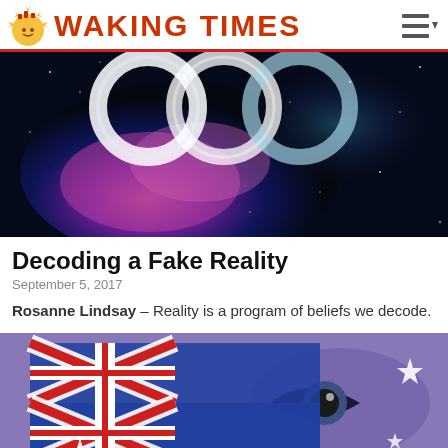WAKING TIMES
[Figure (photo): Space/nebula image with glowing white circular rings over pink/purple cosmic background with stars]
Decoding a Fake Reality
September 5, 2017
Rosanne Lindsay – Reality is a program of beliefs we decode.
[Figure (photo): Australian flag overlaid with a close-up eye on a purple-toned background]